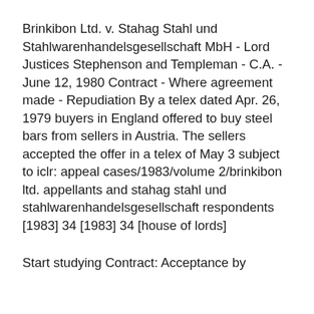Brinkibon Ltd. v. Stahag Stahl und Stahlwarenhandelsgesellschaft MbH - Lord Justices Stephenson and Templeman - C.A. - June 12, 1980 Contract - Where agreement made - Repudiation By a telex dated Apr. 26, 1979 buyers in England offered to buy steel bars from sellers in Austria. The sellers accepted the offer in a telex of May 3 subject to iclr: appeal cases/1983/volume 2/brinkibon ltd. appellants and stahag stahl und stahlwarenhandelsgesellschaft respondents [1983] 34 [1983] 34 [house of lords]
Start studying Contract: Acceptance by